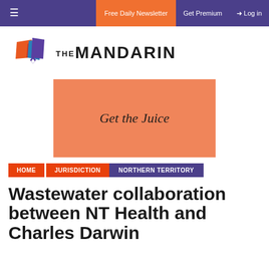Free Daily Newsletter | Get Premium | Log in
[Figure (logo): The Mandarin logo with colorful geometric shapes and bold text]
[Figure (other): Orange advertisement banner reading 'Get the Juice']
HOME | JURISDICTION | NORTHERN TERRITORY
Wastewater collaboration between NT Health and Charles Darwin